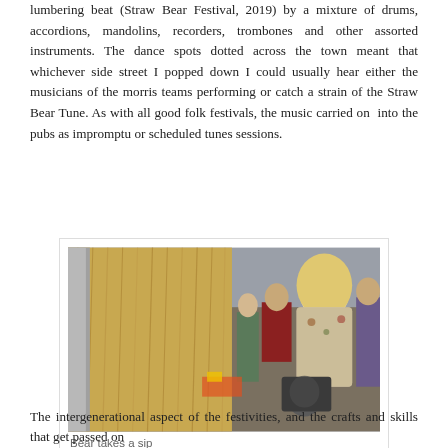lumbering beat (Straw Bear Festival, 2019) by a mixture of drums, accordions, mandolins, recorders, trombones and other assorted instruments. The dance spots dotted across the town meant that whichever side street I popped down I could usually hear either the musicians of the morris teams performing or catch a strain of the Straw Bear Tune. As with all good folk festivals, the music carried on into the pubs as impromptu or scheduled tunes sessions.
[Figure (photo): A photograph showing a person in a large straw bear costume (covering them entirely in straw/hay) alongside spectators including a woman with curly blonde hair in a patterned jacket and another person in a wheelchair.]
Bear takes a sip
The intergenerational aspect of the festivities, and the crafts and skills that get passed on